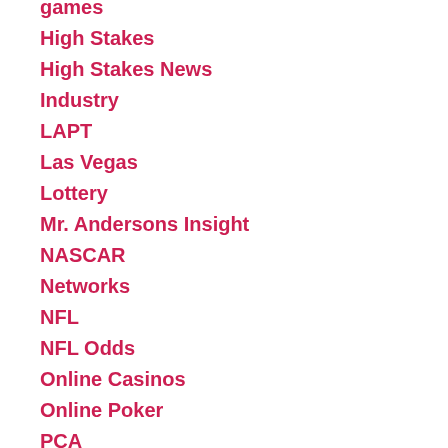games
High Stakes
High Stakes News
Industry
LAPT
Las Vegas
Lottery
Mr. Andersons Insight
NASCAR
Networks
NFL
NFL Odds
Online Casinos
Online Poker
PCA
Poker